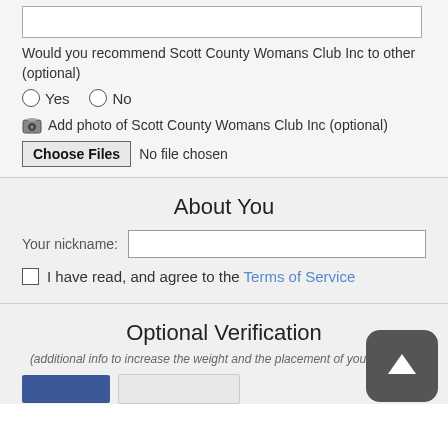[text area stub]
Would you recommend Scott County Womans Club Inc to other (optional)
Yes
No
Add photo of Scott County Womans Club Inc (optional)
Choose Files  No file chosen
About You
Your nickname:
I have read, and agree to the Terms of Service
Optional Verification
(additional info to increase the weight and the placement of your reviews)